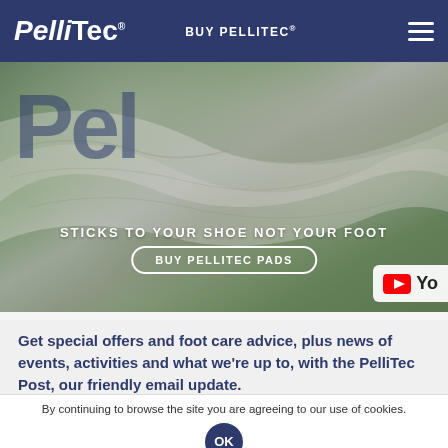PelliTec | BUY PELLITEC®
[Figure (photo): Aerial photo of rocky limestone terrain with green grass. Large semi-transparent 'Pel' text overlay in dark blue. Center text reads 'STICKS TO YOUR SHOE NOT YOUR FOOT' with a 'BUY PELLITEC PADS' button. YouTube icon visible bottom right.]
Get special offers and foot care advice, plus news of events, activities and what we're up to, with the PelliTec Post, our friendly email update.
By continuing to browse the site you are agreeing to our use of cookies.